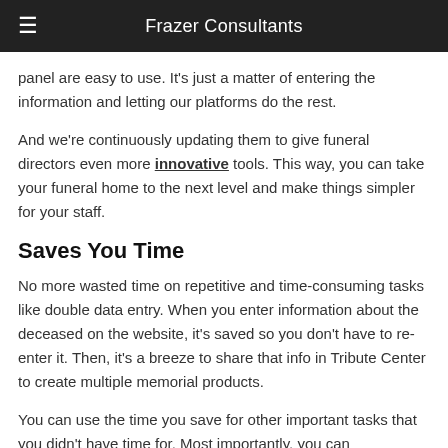Frazer Consultants
panel are easy to use. It's just a matter of entering the information and letting our platforms do the rest.
And we're continuously updating them to give funeral directors even more innovative tools. This way, you can take your funeral home to the next level and make things simpler for your staff.
Saves You Time
No more wasted time on repetitive and time-consuming tasks like double data entry. When you enter information about the deceased on the website, it's saved so you don't have to re-enter it. Then, it's a breeze to share that info in Tribute Center to create multiple memorial products.
You can use the time you save for other important tasks that you didn't have time for. Most importantly, you can